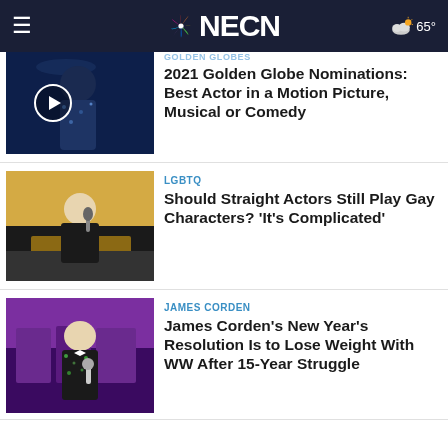NECN — 65°
[Figure (screenshot): Thumbnail of person in sparkly jacket on stage with play button overlay]
2021 Golden Globe Nominations: Best Actor in a Motion Picture, Musical or Comedy
[Figure (photo): Person in black suit speaking into microphone on stage]
LGBTQ
Should Straight Actors Still Play Gay Characters? 'It's Complicated'
[Figure (photo): James Corden in sparkly tuxedo on stage]
JAMES CORDEN
James Corden's New Year's Resolution Is to Lose Weight With WW After 15-Year Struggle